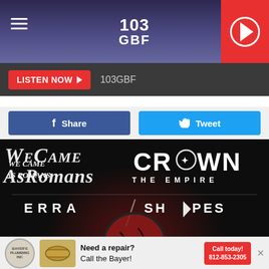103 GBF
LISTEN NOW  103GBF
Share   Tweet
[Figure (photo): Concert promotional poster for We Came As Romans, Crown The Empire, Erra, and Shapes on dark background with red globe artwork]
Need a repair? Call the Bayer!  Call today! 812-853-2305